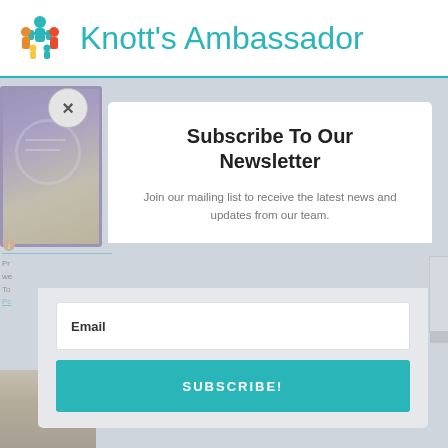Knott's Ambassador
[Figure (screenshot): Newsletter subscription modal popup overlay on a website page. Contains a close button (×), heading 'Subscribe To Our Newsletter', subtext 'Join our mailing list to receive the latest news and updates from our team.', an email input field, and a teal SUBSCRIBE! button.]
Subscribe To Our Newsletter
Join our mailing list to receive the latest news and updates from our team.
Email
SUBSCRIBE!